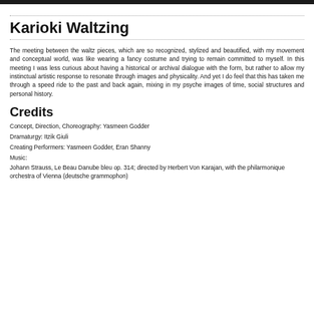Karioki Waltzing
The meeting between the waltz pieces, which are so recognized, stylized and beautified, with my movement and conceptual world, was like wearing a fancy costume and trying to remain committed to myself. In this meeting I was less curious about having a historical or archival dialogue with the form, but rather to allow my instinctual artistic response to resonate through images and physicality. And yet I do feel that this has taken me through a speed ride to the past and back again, mixing in my psyche images of time, social structures and personal history.
Credits
Concept, Direction, Choreography: Yasmeen Godder
Dramaturgy: Itzik Giuli
Creating Performers: Yasmeen Godder, Eran Shanny
Music:
Johann Strauss, Le Beau Danube bleu op. 314; directed by Herbert Von Karajan, with the philarmonique orchestra of Vienna (deutsche grammophon)